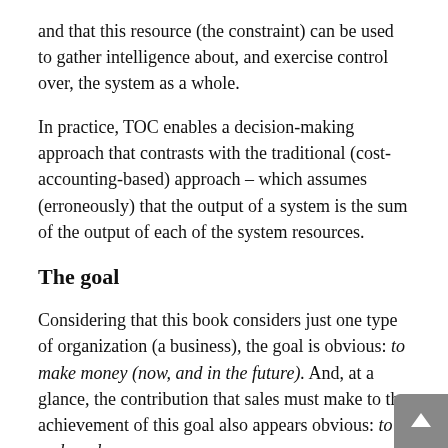and that this resource (the constraint) can be used to gather intelligence about, and exercise control over, the system as a whole.
In practice, TOC enables a decision-making approach that contrasts with the traditional (cost-accounting-based) approach – which assumes (erroneously) that the output of a system is the sum of the output of each of the system resources.
The goal
Considering that this book considers just one type of organization (a business), the goal is obvious: to make money (now, and in the future). And, at a glance, the contribution that sales must make to the achievement of this goal also appears obvious: to make sales.
But, not so fast!
Does it automatically follow that, if the sales function generates more sales, then the organization makes more